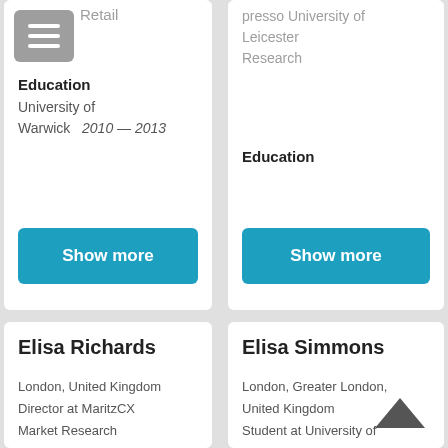Retail
[Figure (other): Hamburger menu icon button with three white horizontal lines on grey background]
Education
University of Warwick   2010 — 2013
Show more
presso University of Leicester Research
Education
Show more
Elisa Richards
London, United Kingdom
Director at MaritzCX Market Research
Elisa Simmons
London, Greater London, United Kingdom
Student at University of Warwick
[Figure (other): Chevron up arrow icon]